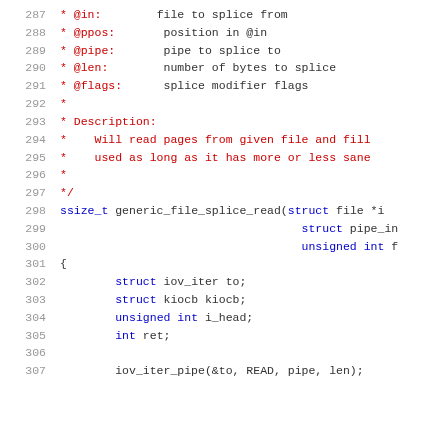[Figure (screenshot): Source code listing showing C code comments for generic_file_splice_read function parameters and beginning of function body, lines 287-307]